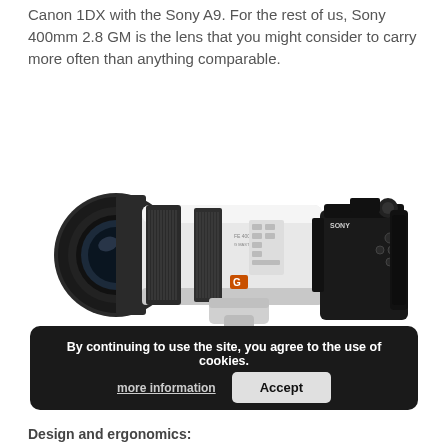Canon 1DX with the Sony A9. For the rest of us, Sony 400mm 2.8 GM is the lens that you might consider to carry more often than anything comparable.
[Figure (photo): Sony 400mm f/2.8 GM telephoto lens (white/silver) with black grip rings, orange G logo, mounted on a Sony mirrorless camera body (black), angled view from left side]
By continuing to use the site, you agree to the use of cookies.
more information
Accept
Design and ergonomics: